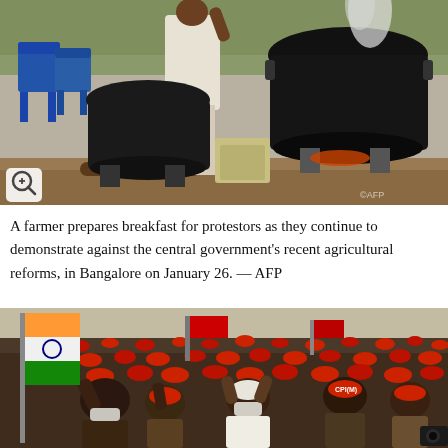[Figure (photo): A farmer cooking in large black pots over an open fire outdoors. Blue plastic chairs visible on the left, smoke rising. Dirt ground with logs and bags visible. Photo taken at a protest site in Bangalore on January 26.]
A farmer prepares breakfast for protestors as they continue to demonstrate against the central government's recent agricultural reforms, in Bangalore on January 26. — AFP
[Figure (photo): A large crowd of protesters wearing red caps and raising their hands. An Indian tricolor flag and a red flag are visible on the left. People wearing face masks. Dense crowd filling the entire frame.]